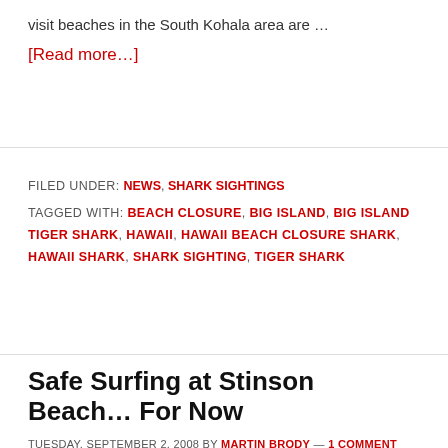visit beaches in the South Kohala area are …
[Read more...]
FILED UNDER: NEWS, SHARK SIGHTINGS
TAGGED WITH: BEACH CLOSURE, BIG ISLAND, BIG ISLAND TIGER SHARK, HAWAII, HAWAII BEACH CLOSURE SHARK, HAWAII SHARK, SHARK SIGHTING, TIGER SHARK
Safe Surfing at Stinson Beach… For Now
TUESDAY, SEPTEMBER 2, 2008 BY MARTIN BRODY — 1 COMMENT
STINSON BEACH, SAN FRANCISCO Some SoCal surfers are scoffing at the 10-day closure